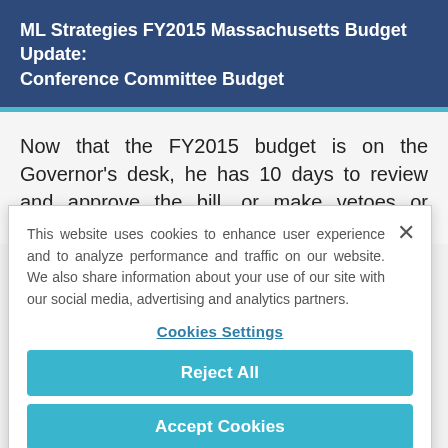ML Strategies FY2015 Massachusetts Budget Update: Conference Committee Budget
Now that the FY2015 budget is on the Governor's desk, he has 10 days to review and approve the bill, or make vetoes or reductions. The Governor has
This website uses cookies to enhance user experience and to analyze performance and traffic on our website. We also share information about your use of our site with our social media, advertising and analytics partners.
Cookies Settings
Reject All
Accept Cookies